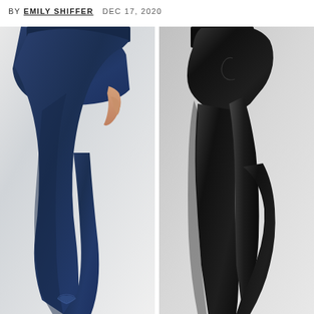BY EMILY SHIFFER  DEC 17, 2020
[Figure (photo): Two side-by-side product photos of athletic leggings. Left: navy blue Under Armour leggings shown from behind/side on a woman's lower body. Right: black leggings shown from the side on a woman's lower body. Both styles feature a high waistband and side pockets.]